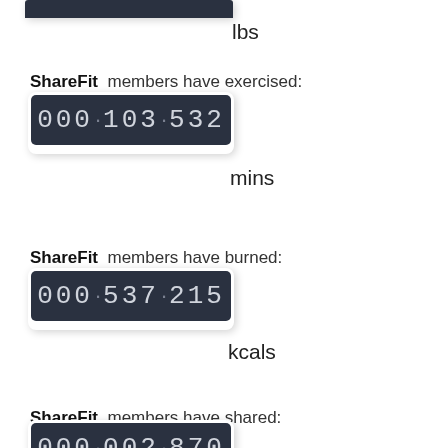lbs
ShareFit members have exercised:
[Figure (other): Odometer-style counter display showing 000·103·532]
mins
ShareFit members have burned:
[Figure (other): Odometer-style counter display showing 000·537·215]
kcals
ShareFit members have shared:
[Figure (other): Odometer-style counter display showing 000·002·870]